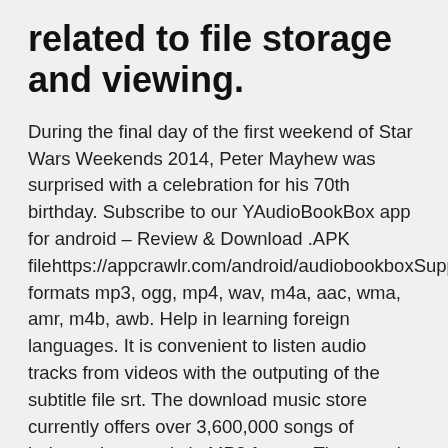related to file storage and viewing.
During the final day of the first weekend of Star Wars Weekends 2014, Peter Mayhew was surprised with a celebration for his 70th birthday. Subscribe to our YAudioBookBox app for android – Review & Download .APK filehttps://appcrawlr.com/android/audiobookboxSupported formats mp3, ogg, mp4, wav, m4a, aac, wma, amr, m4b, awb. Help in learning foreign languages. It is convenient to listen audio tracks from videos with the outputing of the subtitle file srt. The download music store currently offers over 3,600,000 songs of independent music in MP3 format. The store is available worldwide. It was established by Derek Webb and artists he knew after he became one of the first major label artist to give his album away for free digitally on his website, where over 80,000 free copies of the album were downloaded.